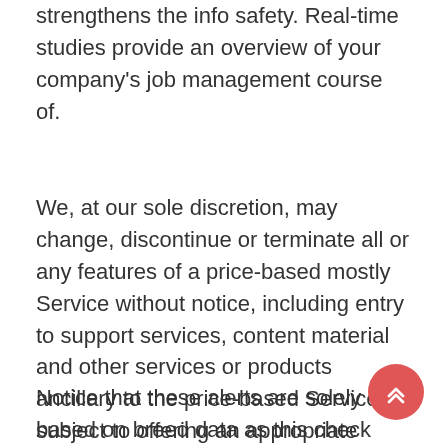strengthens the info safety. Real-time studies provide an overview of your company's job management course of.
We, at our sole discretion, may change, discontinue or terminate all or any features of a price-based mostly Service without notice, including entry to support services, content material and other services or products ancillary to the price-based Service, subject to offering an appropriate refund for any parts of a specified however no longer out there time period.
Notice that these alerts are solely based on breed data as this check doesn't embrace any genetic health testing.